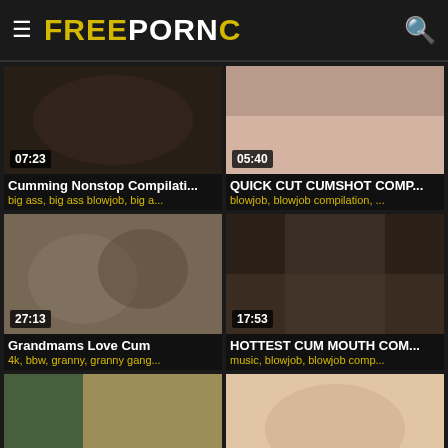FREEPORNC
[Figure (screenshot): Video thumbnail 07:23 - Cumming Nonstop Compilati...]
Cumming Nonstop Compilati...
big ass, big ass blowjob, big a...
[Figure (screenshot): Video thumbnail 05:40 - QUICK CUT CUMSHOT COMP...]
QUICK CUT CUMSHOT COMP...
blowjob, blowjob compilation, ...
[Figure (screenshot): Video thumbnail 27:13 - Grandmams Love Cum]
Grandmams Love Cum
4k, bbw, granny, granny gang...
[Figure (screenshot): Video thumbnail 17:53 - HOTTEST CUM MOUTH COM...]
HOTTEST CUM MOUTH COM...
music, blowjob, blowjob comp...
[Figure (screenshot): Video thumbnail 11:08 - Cumshot Compilation Miss F...]
Cumshot Compilation Miss F...
[Figure (screenshot): Video thumbnail 08:05 - Amazing Blowjob Compilatio...]
Amazing Blowjob Compilatio...